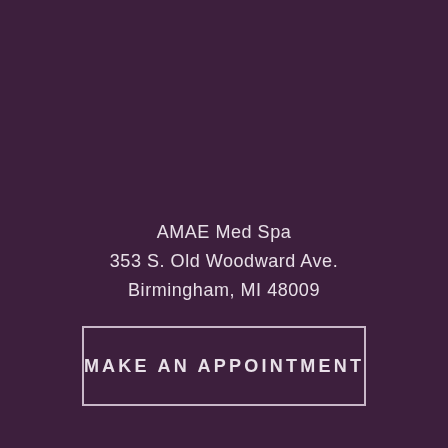AMAE Med Spa
353 S. Old Woodward Ave.
Birmingham, MI 48009
MAKE AN APPOINTMENT